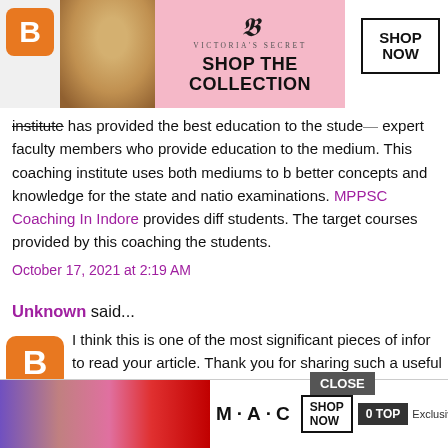[Figure (advertisement): Victoria's Secret advertisement banner with model photo, VS logo, 'SHOP THE COLLECTION' text, and 'SHOP NOW' button]
institute has provided the best education to the students expert faculty members who provide education to the medium. This coaching institute uses both mediums to better concepts and knowledge for the state and national examinations. MPPSC Coaching In Indore provides different students. The target courses provided by this coaching the students.
October 17, 2021 at 2:19 AM
Unknown said...
I think this is one of the most significant pieces of information to read your article. Thank you for sharing such a useful regularly follow this kind of Blog.. Are you looking for B
[Figure (advertisement): MAC cosmetics advertisement banner with lipstick images, MAC logo, SHOP NOW button, CLOSE button, and 0 TOP text]